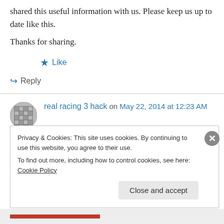shared this useful information with us. Please keep us up to date like this.
Thanks for sharing.
★ Like
↪ Reply
real racing 3 hack on May 22, 2014 at 12:23 AM
We're a group of volunteers and opening a brand new scheme in our
Privacy & Cookies: This site uses cookies. By continuing to use this website, you agree to their use.
To find out more, including how to control cookies, see here: Cookie Policy
Close and accept